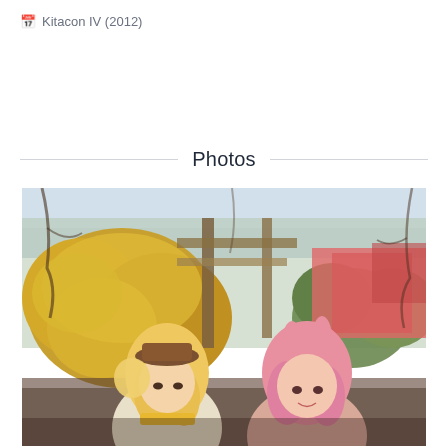📅 Kitacon IV (2012)
Photos
[Figure (photo): Two cosplayers outdoors in front of yellow-flowering bushes and bare trees with a wooden pergola structure and pink building in background. Left figure wears a blonde wig and brown hat with anime costume; right figure wears a pink bunny-ear wig with anime costume.]